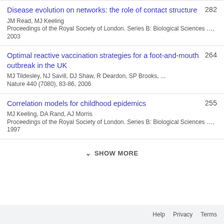Disease evolution on networks: the role of contact structure
JM Read, MJ Keeling
Proceedings of the Royal Society of London. Series B: Biological Sciences …, 2003
282
Optimal reactive vaccination strategies for a foot-and-mouth outbreak in the UK
MJ Tildesley, NJ Savill, DJ Shaw, R Deardon, SP Brooks, ...
Nature 440 (7080), 83-86, 2006
264
Correlation models for childhood epidemics
MJ Keeling, DA Rand, AJ Morris
Proceedings of the Royal Society of London. Series B: Biological Sciences …, 1997
255
SHOW MORE
Help   Privacy   Terms